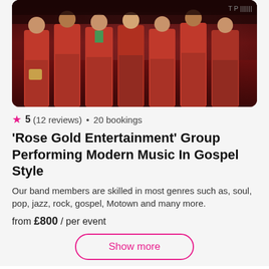[Figure (photo): Group photo of choir members in red robes standing in a room with dark wood paneling]
5 (12 reviews) • 20 bookings
'Rose Gold Entertainment' Group Performing Modern Music In Gospel Style
Our band members are skilled in most genres such as, soul, pop, jazz, rock, gospel, Motown and many more.
from £800 / per event
Show more
Reviews for Choirs in Epsom
Read verified reviews from real clients, who booked with Poptop in Epsom